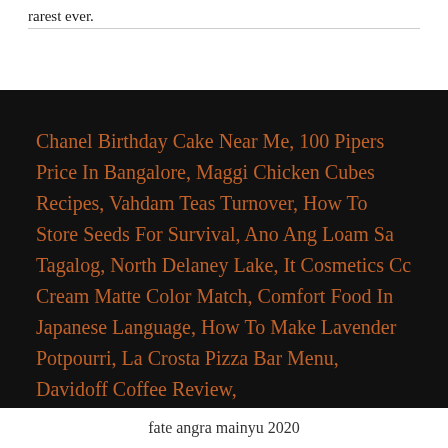rarest ever.
Chanel Birthday Cake Near Me, 100 Pipers Price In Bangalore, Maggi Chicken Cubes Recipes, Vahdam Teas Turnover, How To Store Seeds For Survival, Ano Ang Loam Sa Tagalog, North Delaney Lake, It Cosmetics Cc Cream Matte Color Match, Comfort Food In Japanese Language, How To Make Lavender Potpourri, La Crosta Pizza Bar Menu, Davidoff Coffee Review,
fate angra mainyu 2020